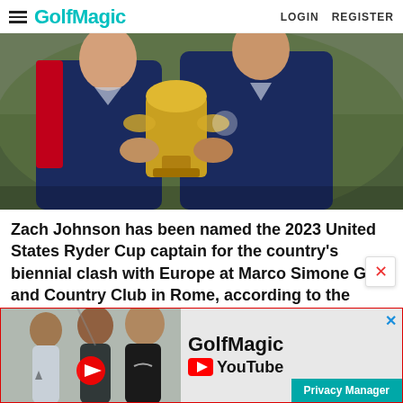GolfMagic  LOGIN  REGISTER
[Figure (photo): Two men in navy blue US Ryder Cup jackets holding the Ryder Cup trophy outdoors]
Zach Johnson has been named the 2023 United States Ryder Cup captain for the country's biennial clash with Europe at Marco Simone Golf and Country Club in Rome, according to the
[Figure (photo): GolfMagic YouTube advertisement banner featuring golfers including Dustin Johnson and Rory McIlroy with a YouTube play button]